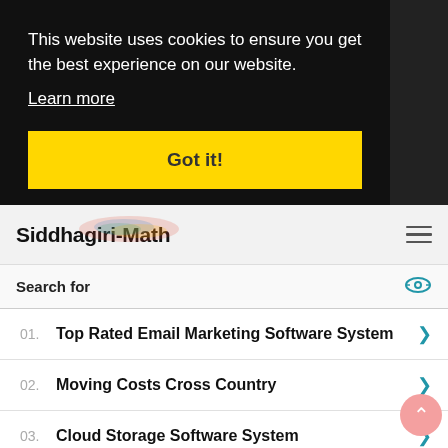This website uses cookies to ensure you get the best experience on our website.
Learn more
Got it!
[Figure (logo): Siddhagiri-Math logo with colorful paint splash above text]
Search for
01. Top Rated Email Marketing Software System
02. Moving Costs Cross Country
03. Cloud Storage Software System